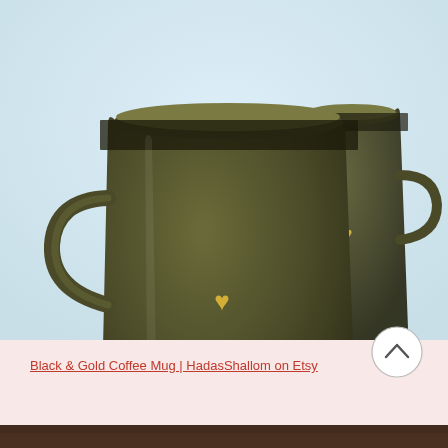[Figure (photo): Two dark olive/black ceramic coffee mugs with gold heart detail on the front, photographed on a white/light blue background. The larger mug is in the foreground on the left, and a smaller mug is partially visible in the background on the right. Both mugs have a glossy finish and a gold heart motif.]
Black & Gold Coffee Mug | HadasShallom on Etsy